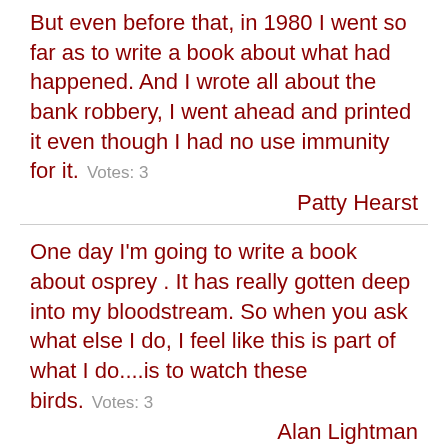But even before that, in 1980 I went so far as to write a book about what had happened. And I wrote all about the bank robbery, I went ahead and printed it even though I had no use immunity for it.    Votes: 3
Patty Hearst
One day I'm going to write a book about osprey . It has really gotten deep into my bloodstream. So when you ask what else I do, I feel like this is part of what I do....is to watch these birds.    Votes: 3
Alan Lightman
All my life, I've wanted to write a book inspired by my relationship with my grandfather. Basically, my grandfather was a guy who